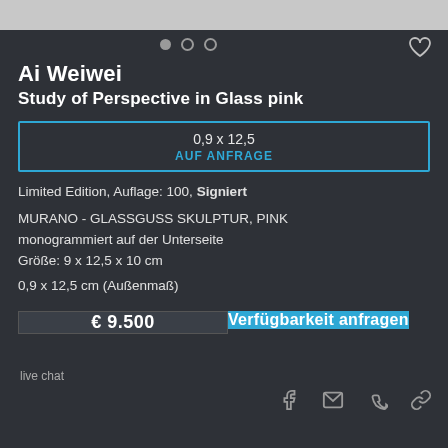[Figure (photo): Top grey image bar (partial product photo)]
Ai Weiwei
Study of Perspective in Glass pink
0,9 x 12,5
AUF ANFRAGE
Limited Edition, Auflage: 100, Signiert
MURANO - GLASSGUSS SKULPTUR, PINK
monogrammiert auf der Unterseite
Größe: 9 x 12,5 x 10 cm
0,9 x 12,5 cm (Außenmaß)
€ 9.500
Verfügbarkeit anfragen
live chat